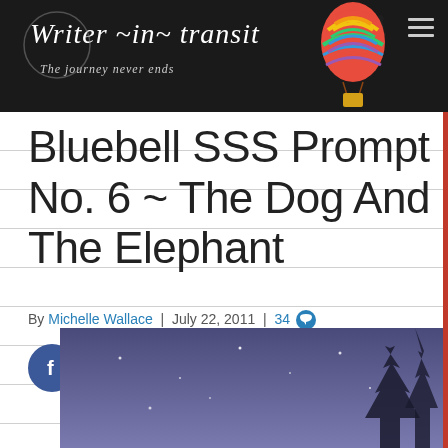Writer-in-transit – The journey never ends
Bluebell SSS Prompt No. 6 ~ The Dog And The Elephant
By Michelle Wallace | July 22, 2011 | 34
[Figure (infographic): Social sharing icons row: Facebook (dark blue circle with f), Twitter (light blue circle with bird), Pinterest (red circle with P), LinkedIn (blue circle with in), Digg (blue circle with digg text)]
[Figure (photo): Night sky with stars and silhouette of trees in the upper right corner, purple-blue toned image]